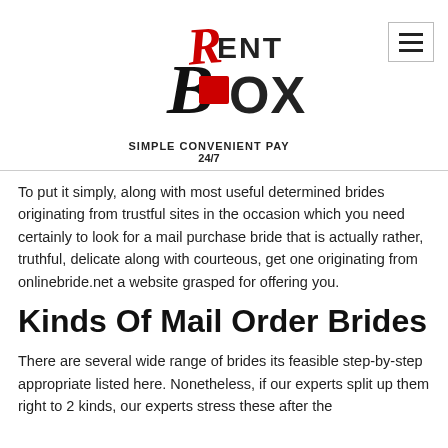[Figure (logo): RentBox logo with red and black stylized text, tagline 'Simple Convenient Pay 24/7']
To put it simply, along with most useful determined brides originating from trustful sites in the occasion which you need certainly to look for a mail purchase bride that is actually rather, truthful, delicate along with courteous, get one originating from onlinebride.net a website grasped for offering you.
Kinds Of Mail Order Brides
There are several wide range of brides its feasible step-by-step appropriate listed here. Nonetheless, if our experts split up them right to 2 kinds, our experts stress these after the